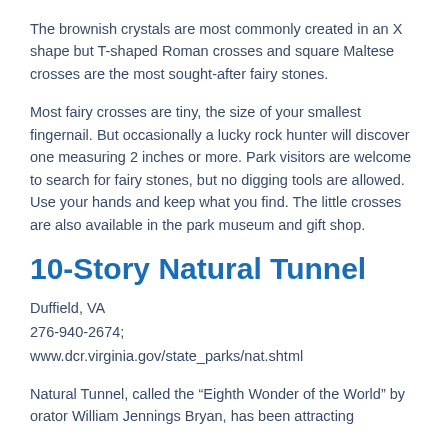The brownish crystals are most commonly created in an X shape but T-shaped Roman crosses and square Maltese crosses are the most sought-after fairy stones.
Most fairy crosses are tiny, the size of your smallest fingernail. But occasionally a lucky rock hunter will discover one measuring 2 inches or more. Park visitors are welcome to search for fairy stones, but no digging tools are allowed. Use your hands and keep what you find. The little crosses are also available in the park museum and gift shop.
10-Story Natural Tunnel
Duffield, VA
276-940-2674;
www.dcr.virginia.gov/state_parks/nat.shtml
Natural Tunnel, called the “Eighth Wonder of the World” by orator William Jennings Bryan, has been attracting